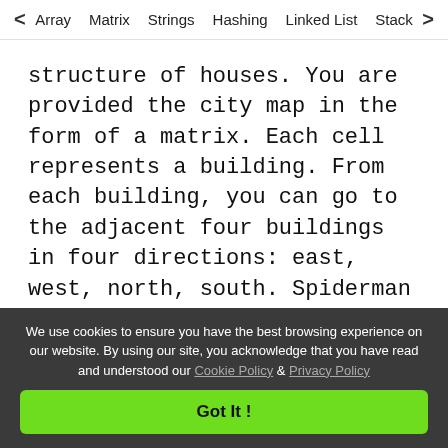< Array  Matrix  Strings  Hashing  Linked List  Stack >
structure of houses. You are provided the city map in the form of a matrix. Each cell represents a building. From each building, you can go to the adjacent four buildings in four directions: east, west, north, south. Spiderman wants to rescue a victim which is on some building. You will be provided with the location of the victim and spiderman is situated at (1,1) building. But, there is a condition that spiderman can not jump between buildings if the difference in their heights is greater than some particular value. Find a way
We use cookies to ensure you have the best browsing experience on our website. By using our site, you acknowledge that you have read and understood our Cookie Policy & Privacy Policy
Got It !